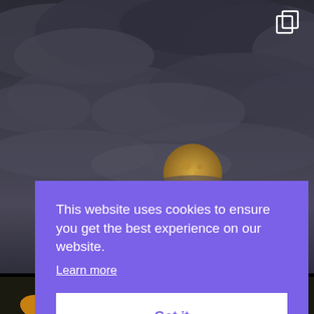[Figure (photo): Dark stormy sky with clouds and a golden moon visible in the lower center portion, with a sunflower visible at the very bottom edge of the image.]
This website uses cookies to ensure you get the best experience on our website.
Learn more
Got it